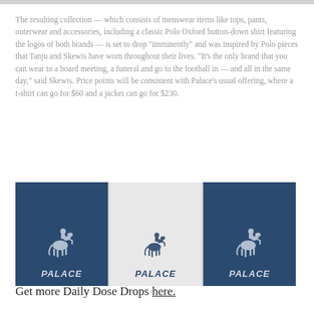The resulting collection — which consists of menswear items like tops, pants, outerwear and accessories, including a classic Polo Oxford button-down shirt featuring the logos of both brands — is set to drop "imminently" and was inspired by Polo pieces that Tanju and Skewis have worn throughout their lives. "It's the only brand that you can wear to a board meeting, a funeral and go to the football in — and all in the same day," said Skewis. Price points will be consistent with Palace's usual offering, where a t-shirt can go for $60 and a jacket can go for $230.
[Figure (photo): Three side-by-side panels showing Palace x Polo Ralph Lauren branding. Left and right panels have dark navy blue backgrounds with a polo pony logo and 'PALACE' text in silver/grey italic. The middle panel has a light grey/white background with a polo pony logo and 'PALACE' text in dark navy italic.]
Get more Daily Dose Drops here.